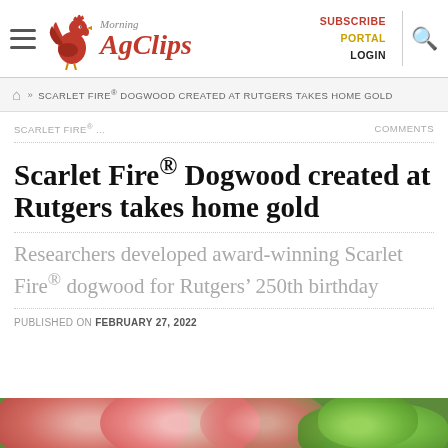Morning AgClips — SUBSCRIBE PORTAL LOGIN
» SCARLET FIRE® DOGWOOD CREATED AT RUTGERS TAKES HOME GOLD
SCARLET FIRE® ... COMMENTS
Scarlet Fire® Dogwood created at Rutgers takes home gold
Researchers developed award-winning Scarlet Fire® dogwood for Rutgers' 250th birthday
PUBLISHED ON FEBRUARY 27, 2022
[Figure (photo): Close-up photo of pink and red dogwood bracts with green foliage in background]